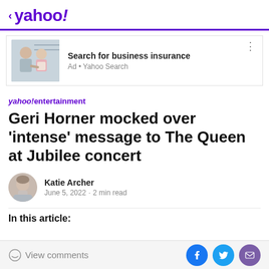< yahoo!
[Figure (screenshot): Ad banner: image of elderly man and caregiver woman on left, text 'Search for business insurance' with 'Ad • Yahoo Search' below]
yahoo!entertainment
Geri Horner mocked over 'intense' message to The Queen at Jubilee concert
Katie Archer
June 5, 2022 · 2 min read
In this article:
View comments